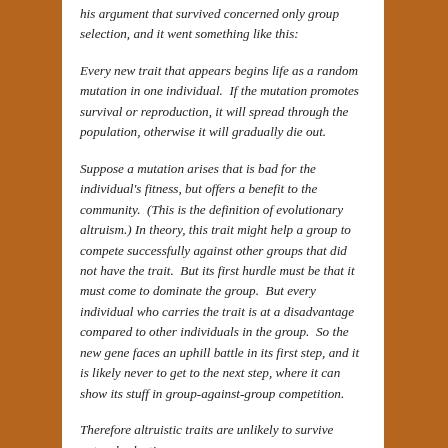his argument that survived concerned only group selection, and it went something like this:
Every new trait that appears begins life as a random mutation in one individual.  If the mutation promotes survival or reproduction, it will spread through the population, otherwise it will gradually die out.
Suppose a mutation arises that is bad for the individual's fitness, but offers a benefit to the community.  (This is the definition of evolutionary altruism.) In theory, this trait might help a group to compete successfully against other groups that did not have the trait.  But its first hurdle must be that it must come to dominate the group.  But every individual who carries the trait is at a disadvantage compared to other individuals in the group.  So the new gene faces an uphill battle in its first step, and it is likely never to get to the next step, where it can show its stuff in group-against-group competition.
Therefore altruistic traits are unlikely to survive natural selection.